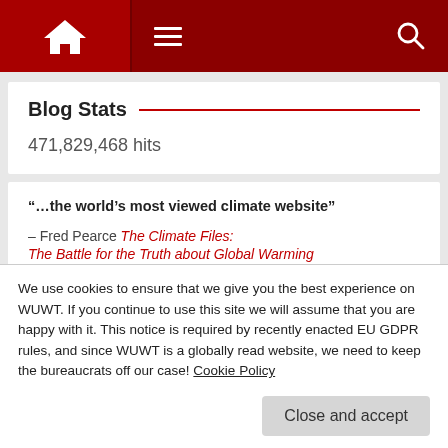WUWT navigation bar with home, menu, and search icons
Blog Stats
471,829,468 hits
“…the world’s most viewed climate website”
– Fred Pearce The Climate Files: The Battle for the Truth about Global Warming
“…invaluable” – Steven F. Hayward The Weekly Standard
We use cookies to ensure that we give you the best experience on WUWT. If you continue to use this site we will assume that you are happy with it. This notice is required by recently enacted EU GDPR rules, and since WUWT is a globally read website, we need to keep the bureaucrats off our case! Cookie Policy
Close and accept
Mann